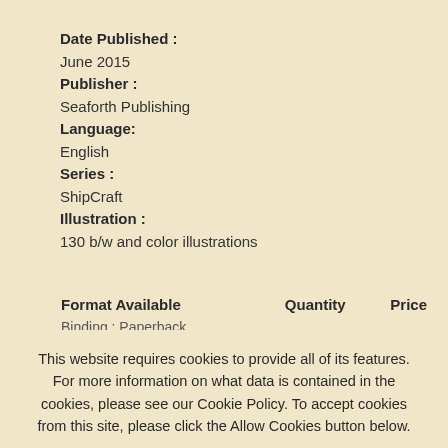Date Published : June 2015
Publisher : Seaforth Publishing
Language: English
Series : ShipCraft
Illustration : 130 b/w and color illustrations
| Format Available | Quantity | Price |
| --- | --- | --- |
| Binding : Paperback |  |  |
This website requires cookies to provide all of its features. For more information on what data is contained in the cookies, please see our Cookie Policy. To accept cookies from this site, please click the Allow Cookies button below.
Allow Cookies